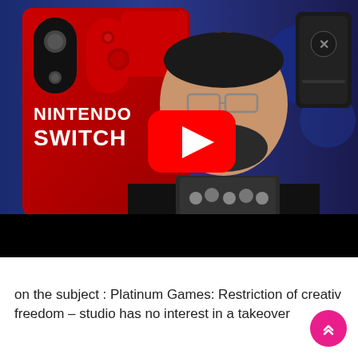[Figure (screenshot): YouTube video thumbnail showing a man with glasses and beard wearing a black t-shirt, with a Nintendo Switch banner on the left side and an Xbox console on the right. A red YouTube play button overlay is visible in the center.]
on the subject : Platinum Games: Restriction of creative freedom – studio has no interest in a takeover